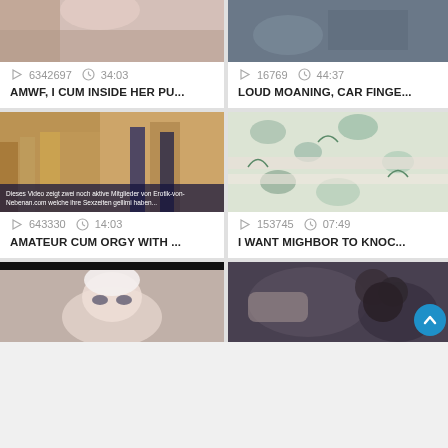[Figure (screenshot): Video thumbnail top-left, partial image of person]
6342697  34:03
AMWF, I CUM INSIDE HER PU...
[Figure (screenshot): Video thumbnail top-right, partial image]
16769  44:37
LOUD MOANING, CAR FINGE...
[Figure (screenshot): Video thumbnail mid-left, group scene with German overlay text]
[Figure (screenshot): Video thumbnail mid-right, floral fabric]
643330  14:03
AMATEUR CUM ORGY WITH ...
153745  07:49
I WANT MIGHBOR TO KNOC...
[Figure (screenshot): Video thumbnail bottom-left, person in white towel]
[Figure (screenshot): Video thumbnail bottom-right, close-up]